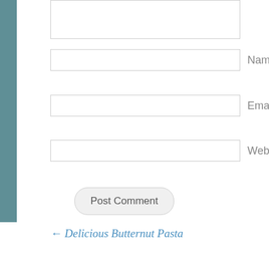Name *
Email *
Website
Post Comment
← Delicious Butternut Pasta